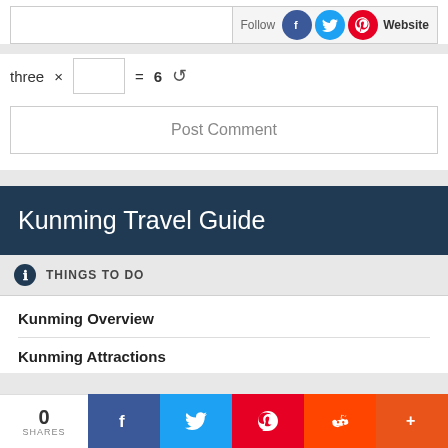Website (input field)
Follow
three × [input] = 6 (refresh)
Post Comment
Kunming Travel Guide
THINGS TO DO
Kunming Overview
Kunming Attractions
0 SHARES